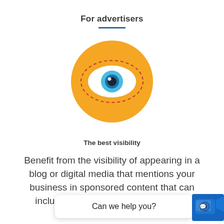For advertisers
[Figure (illustration): Yellow circle with an eye icon inside. The eye has a blue iris and dark pupil. A red dashed ellipse outlines the eye shape within the yellow circle.]
The best visibility
Benefit from the visibility of appearing in a blog or digital media that mentions your business in sponsored content that can include URLs with DoFollow links for additional SE...
Can we help you?